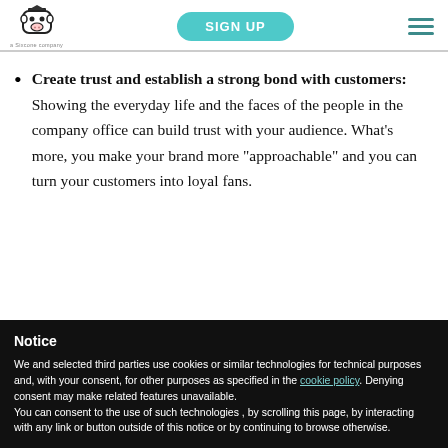SIGN UP | a Sixcone company
Create trust and establish a strong bond with customers: Showing the everyday life and the faces of the people in the company office can build trust with your audience. What's more, you make your brand more “approachable” and you can turn your customers into loyal fans.
Notice
We and selected third parties use cookies or similar technologies for technical purposes and, with your consent, for other purposes as specified in the cookie policy. Denying consent may make related features unavailable.
You can consent to the use of such technologies , by scrolling this page, by interacting with any link or button outside of this notice or by continuing to browse otherwise.